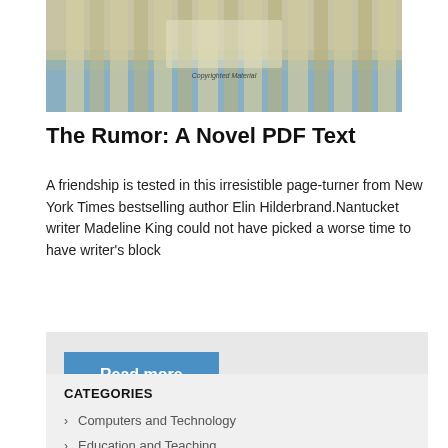[Figure (photo): Book cover image showing wooden slat fence with water/ocean in background and 'Copyrighted Material' watermark text]
The Rumor: A Novel PDF Text
A friendship is tested in this irresistible page-turner from New York Times bestselling author Elin Hilderbrand.Nantucket writer Madeline King could not have picked a worse time to have writer's block
Read more
CATEGORIES
Computers and Technology
Education and Teaching